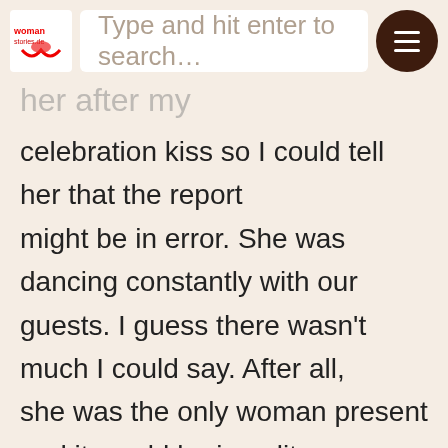Type and hit enter to search...
her after my celebration kiss so I could tell her that the report might be in error. She was dancing constantly with our guests. I guess there wasn't much I could say. After all, she was the only woman present and it would be impolite for the host's wife not to spend some time dancing with